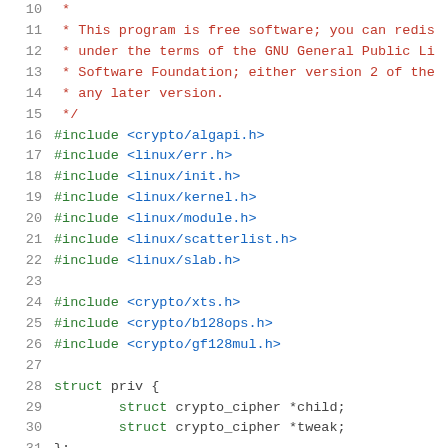Source code listing, lines 10-31, showing C header includes and struct definition
10: *
11:  * This program is free software; you can redis
12:  * under the terms of the GNU General Public Li
13:  * Software Foundation; either version 2 of the
14:  * any later version.
15:  */
16: #include <crypto/algapi.h>
17: #include <linux/err.h>
18: #include <linux/init.h>
19: #include <linux/kernel.h>
20: #include <linux/module.h>
21: #include <linux/scatterlist.h>
22: #include <linux/slab.h>
23:
24: #include <crypto/xts.h>
25: #include <crypto/b128ops.h>
26: #include <crypto/gf128mul.h>
27:
28: struct priv {
29:         struct crypto_cipher *child;
30:         struct crypto_cipher *tweak;
31: };